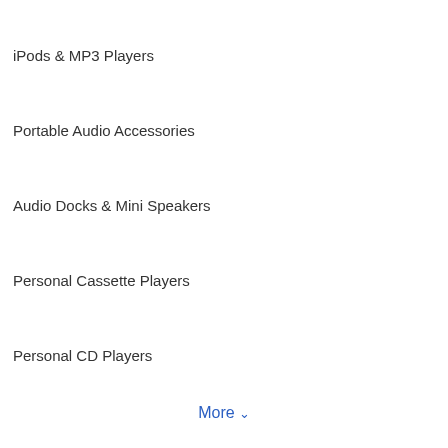iPods & MP3 Players
Portable Audio Accessories
Audio Docks & Mini Speakers
Personal Cassette Players
Personal CD Players
More